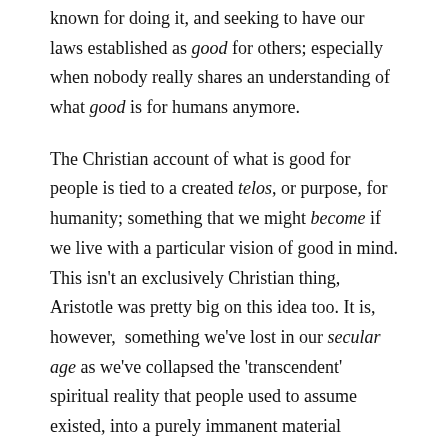known for doing it, and seeking to have our laws established as good for others; especially when nobody really shares an understanding of what good is for humans anymore.
The Christian account of what is good for people is tied to a created telos, or purpose, for humanity; something that we might become if we live with a particular vision of good in mind. This isn't an exclusively Christian thing, Aristotle was pretty big on this idea too. It is, however, something we've lost in our secular age as we've collapsed the 'transcendent' spiritual reality that people used to assume existed, into a purely immanent material framework for knowing about and experiencing the world.
In After Virtue, Alisdair MacIntyre makes the observation that modern (and post-modern) secular morality has no sense of a purpose or telos outside of material existence for humanity — no good beyond the idea of 'being what you are' — so a very